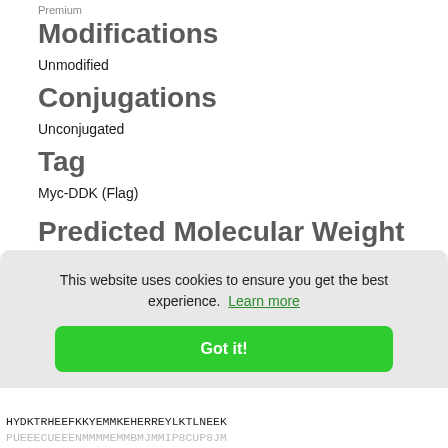Premium
Modifications
Unmodified
Conjugations
Unconjugated
Tag
Myc-DDK (Flag)
Predicted Molecular Weight
50 kDa
This website uses cookies to ensure you get the best experience. Learn more
Got it!
HYDKTRHEEFKKYEMMKEHERREYLKTLNEEKPUEEECUEEENMMMMEMMBMJMMIP8CUP8JM